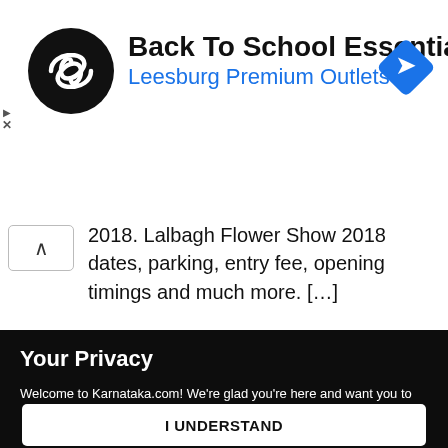[Figure (other): Advertisement banner: black circular logo with overlapping arrows/infinity symbol, bold title 'Back To School Essentials', blue subtitle 'Leesburg Premium Outlets', blue diamond navigation icon on right]
2018. Lalbagh Flower Show 2018 dates, parking, entry fee, opening timings and much more. […]
[Figure (other): Partially visible image strip at top of dark section]
Your Privacy
Welcome to Karnataka.com! We're glad you're here and want you to know that we respect your privacy and your right to control how we collect, use, and share your personal data. Please read our Privacy Policy to learn about our privacy practices.
I UNDERSTAND